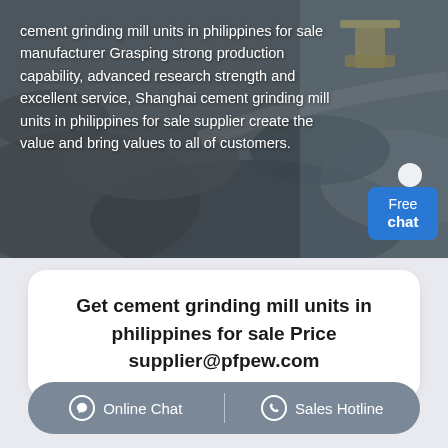[Figure (photo): Aerial photo of a quarry or mining site with heavy machinery, rocky terrain in grey-blue tones. Text overlay in white describes cement grinding mill units product.]
cement grinding mill units in philippines for sale manufacturer Grasping strong production capability, advanced research strength and excellent service, Shanghai cement grinding mill units in philippines for sale supplier create the value and bring values to all of customers.
Get cement grinding mill units in philippines for sale Price supplier@pfpew.com
Online Chat | Sales Hotline